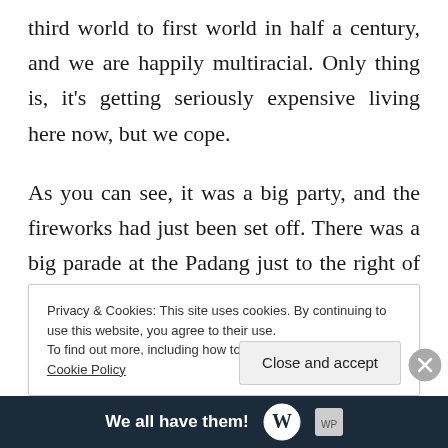third world to first world in half a century, and we are happily multiracial. Only thing is, it's getting seriously expensive living here now, but we cope.
As you can see, it was a big party, and the fireworks had just been set off. There was a big parade at the Padang just to the right of this picture, which I didn't capture in this frame.
Privacy & Cookies: This site uses cookies. By continuing to use this website, you agree to their use.
To find out more, including how to control cookies, see here: Cookie Policy
Close and accept
We all have them!